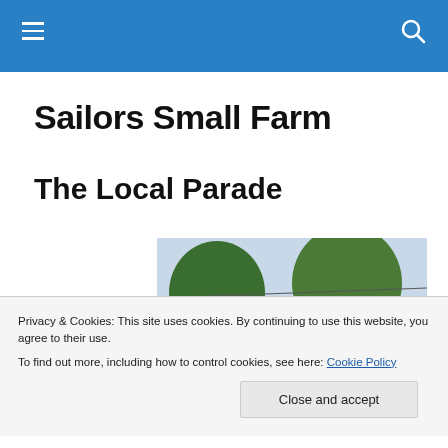Navigation bar with hamburger menu and search icon
Sailors Small Farm
The Local Parade
[Figure (photo): Outdoor parade scene with a person waving a Canadian flag, large green trees and a building roof in background]
Privacy & Cookies: This site uses cookies. By continuing to use this website, you agree to their use.
To find out more, including how to control cookies, see here: Cookie Policy
Close and accept